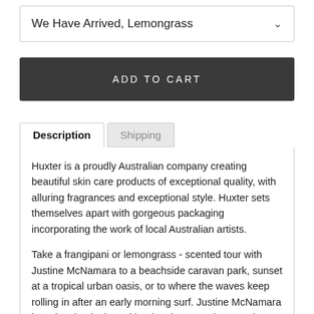We Have Arrived, Lemongrass
ADD TO CART
Description
Shipping
Huxter is a proudly Australian company creating beautiful skin care products of exceptional quality, with alluring fragrances and exceptional style. Huxter sets themselves apart with gorgeous packaging incorporating the work of local Australian artists.
Take a frangipani or lemongrass - scented tour with Justine McNamara to a beachside caravan park, sunset at a tropical urban oasis, or to where the waves keep rolling in after an early morning surf. Justine McNamara is a visual artist based in Victoria's stunning Mornington Peninsula. Her work celebrates the vibrant, colourful and no-fuss small-town